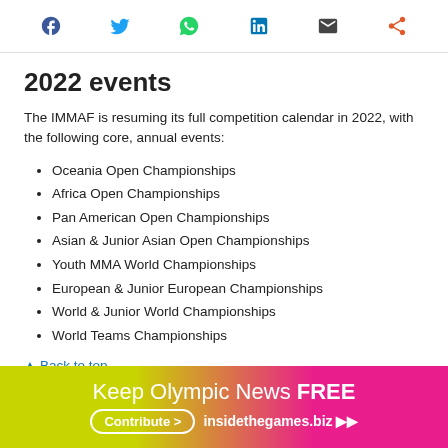Social sharing icons: Facebook, Twitter, WhatsApp, LinkedIn, Email, Share
2022 events
The IMMAF is resuming its full competition calendar in 2022, with the following core, annual events:
Oceania Open Championships
Africa Open Championships
Pan American Open Championships
Asian & Junior Asian Open Championships
Youth MMA World Championships
European & Junior European Championships
World & Junior World Championships
World Teams Championships
Back to top
Keep Olympic News FREE — Contribute > insidethegames.biz